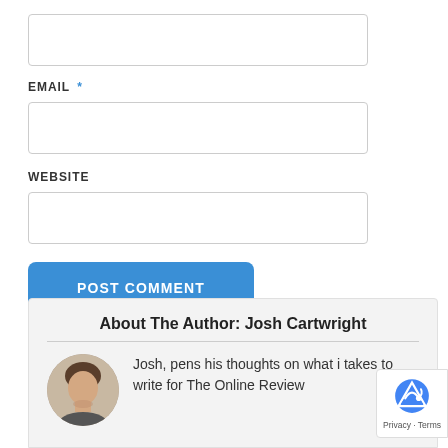[Figure (other): Empty text input box (first field, no label visible)]
EMAIL *
[Figure (other): Empty email input box]
WEBSITE
[Figure (other): Empty website input box]
POST COMMENT
About The Author: Josh Cartwright
[Figure (photo): Headshot photo of Josh Cartwright]
Josh, pens his thoughts on what it takes to write for The Online Review